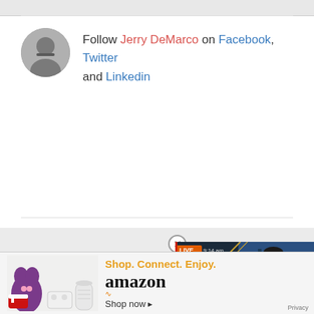Follow Jerry DeMarco on Facebook, Twitter and Linkedin
[Figure (screenshot): Bloomberg TV live video player showing Rahul Chadha from Mirae Asset Global Investments with lower-third text 'ASIAN STOCKS HOVER NEAR 6-WEEK LOWS', LIVE timestamp 9:14 am]
[Figure (photo): Amazon advertisement banner with product images (purple creature plush, red sneakers, white Xbox controller, white cylindrical device), text 'Shop. Connect. Enjoy. amazon Shop now' with Privacy label]